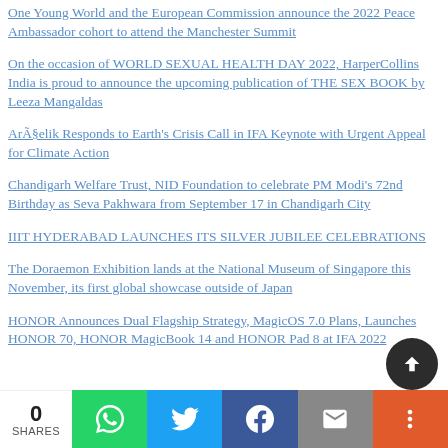One Young World and the European Commission announce the 2022 Peace Ambassador cohort to attend the Manchester Summit
On the occasion of WORLD SEXUAL HEALTH DAY 2022, HarperCollins India is proud to announce the upcoming publication of THE SEX BOOK by Leeza Mangaldas
ArÃ§elik Responds to Earth's Crisis Call in IFA Keynote with Urgent Appeal for Climate Action
Chandigarh Welfare Trust, NID Foundation to celebrate PM Modi's 72nd Birthday as Seva Pakhwara from September 17 in Chandigarh City
IIIT HYDERABAD LAUNCHES ITS SILVER JUBILEE CELEBRATIONS
The Doraemon Exhibition lands at the National Museum of Singapore this November, its first global showcase outside of Japan
HONOR Announces Dual Flagship Strategy, MagicOS 7.0 Plans, Launches HONOR 70, HONOR MagicBook 14 and HONOR Pad 8 at IFA 2022
0 SHARES | WhatsApp | Twitter | Facebook | Email | More